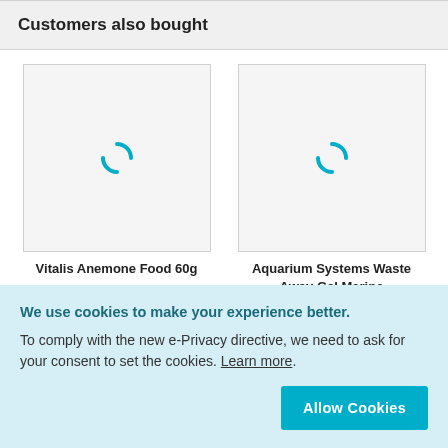Customers also bought
[Figure (illustration): Loading spinner icon (cyan arc) shown as placeholder for product image of Vitalis Anemone Food 60g]
Vitalis Anemone Food 60g
[Figure (illustration): Loading spinner icon (cyan arc) shown as placeholder for product image of Aquarium Systems Waste Away Gel Marine]
Aquarium Systems Waste Away Gel Marine
We use cookies to make your experience better. To comply with the new e-Privacy directive, we need to ask for your consent to set the cookies. Learn more. Allow Cookies